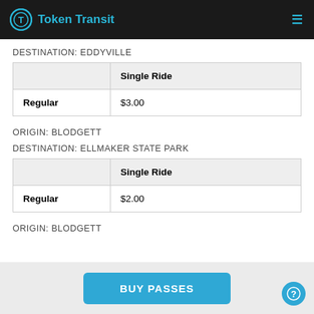Token Transit
DESTINATION: EDDYVILLE
|  | Single Ride |
| --- | --- |
| Regular | $3.00 |
ORIGIN: BLODGETT
DESTINATION: ELLMAKER STATE PARK
|  | Single Ride |
| --- | --- |
| Regular | $2.00 |
ORIGIN: BLODGETT
BUY PASSES